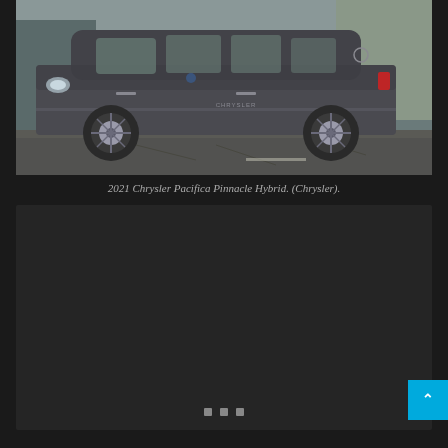[Figure (photo): Side view of a dark gray 2021 Chrysler Pacifica Pinnacle Hybrid minivan parked on a cracked asphalt lot, photographed from the driver's side showing full profile of the vehicle.]
2021 Chrysler Pacifica Pinnacle Hybrid. (Chrysler).
[Figure (photo): Dark panel area, appears to be a loading or placeholder area for another image/content, with navigation dots at the bottom.]